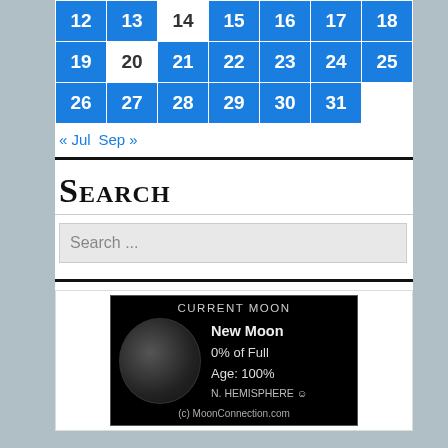| 12 | 13 | 14 | 15 | 16 | 17 | 18 |
| 19 | 20 | 21 | 22 | 23 | 24 | 25 |
| 26 | 27 | 28 | 29 | 30 | 31 |  |
« Jul  Sep »
SEARCH
Search ...
[Figure (illustration): Current Moon widget showing a New Moon image on black background with text: CURRENT MOON, New Moon, 0% of Full, Age: 100%, N. HEMISPHERE, (c) MoonConnection.com]